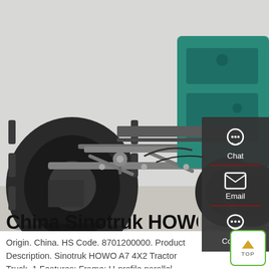[Figure (photo): Undercarriage view of a Sinotruk HOWO A7 tractor truck showing front axle, suspension components, tires, and teal-colored engine block]
China Sinotruk HOWO A7
Origin. China. HS Code. 8701200000. Product Description. Sinotruk HOWO A7 4X2 Tractor Truck. 1.Features: Frame: U-profile parallel ladder frame wit